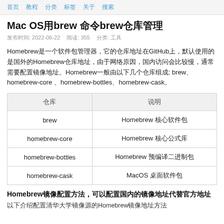首页 教程 分类 标签 关于 搜索
Mac OS用brew 命令brew仓库管理
发布时间: 2022-06-22  阅读: 355  分类: 工具
Homebrew是一个软件包管理器，它的仓库地址在GitHub上，默认使用的是国外的Homebrew仓库地址，由于网络原因，国内访问会比较慢，通常需要配置镜像地址。Homebrew一般由以下几个仓库组成: brew、homebrew-core 、homebrew-bottles、homebrew-cask。
| 仓库 | 说明 |
| --- | --- |
| brew | Homebrew 核心软件包 |
| homebrew-core | Homebrew 核心公式库 |
| homebrew-bottles | Homebrew 预编译二进制包 |
| homebrew-cask | MacOS 桌面软件包 |
Homebrew镜像配置方法，可以配置国内的镜像地址代替官方地址
以下介绍配置清华大学镜像源的Homebrew镜像地址方法